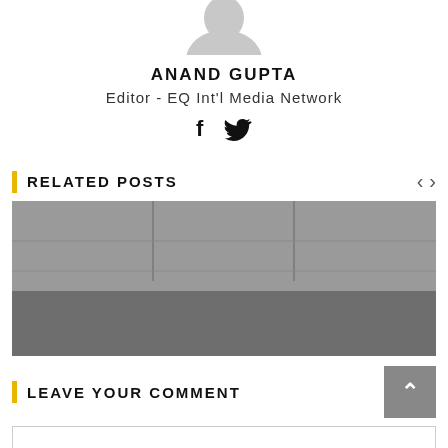[Figure (photo): Partial view of author avatar/profile photo silhouette at the top, cropped from above]
ANAND GUPTA
Editor - EQ Int'l Media Network
[Figure (illustration): Social media icons: Facebook (f) and Twitter (bird) icons in black]
RELATED POSTS
[Figure (photo): Black and white photo showing large white 3D letters spelling 'Marubeni' against a tiled wall background]
LEAVE YOUR COMMENT